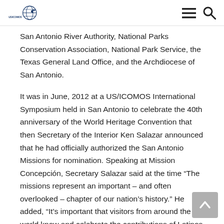US/ICOMOS logo, hamburger menu, search icon
San Antonio River Authority, National Parks Conservation Association, National Park Service, the Texas General Land Office, and the Archdiocese of San Antonio.
It was in June, 2012 at a US/ICOMOS International Symposium held in San Antonio to celebrate the 40th anniversary of the World Heritage Convention that then Secretary of the Interior Ken Salazar announced that he had officially authorized the San Antonio Missions for nomination. Speaking at Mission Concepción, Secretary Salazar said at the time “The missions represent an important – and often overlooked – chapter of our nation’s history.” He added, “It’s important that visitors from around the world know and celebrate the contributions of Latinos